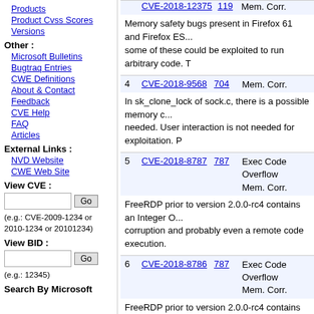Products
Product Cvss Scores
Versions
Other :
Microsoft Bulletins
Bugtraq Entries
CWE Definitions
About & Contact
Feedback
CVE Help
FAQ
Articles
External Links :
NVD Website
CWE Web Site
View CVE :
(e.g.: CVE-2009-1234 or 2010-1234 or 20101234)
View BID :
(e.g.: 12345)
Search By Microsoft
| # | CVE | BID | Type |
| --- | --- | --- | --- |
|  | CVE-2018-... | 119 | Mem. Corr. |
| 4 | CVE-2018-9568 | 704 | Mem. Corr. |
| 5 | CVE-2018-8787 | 787 | Exec Code Overflow Mem. Corr. |
| 6 | CVE-2018-8786 | 787 | Exec Code Overflow Mem. Corr. |
| 7 | CVE-2018-5188 | 119 | Overflow Mem. Corr. |
| 8 | CVE-2018-5183 | 119 | Overflow |
Memory safety bugs present in Firefox 61 and Firefox ES... some of these could be exploited to run arbitrary code. T
In sk_clone_lock of sock.c, there is a possible memory c... needed. User interaction is not needed for exploitation. P
FreeRDP prior to version 2.0.0-rc4 contains an Integer O... corruption and probably even a remote code execution.
FreeRDP prior to version 2.0.0-rc4 contains an Integer T... memory corruption and probably even a remote code exe...
Memory safety bugs present in Firefox 60, Firefox ESR 6... enough effort that some of these could be exploited to ru... 52.9, and Firefox < 61.